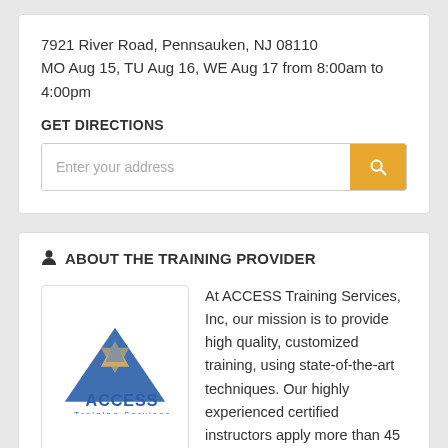7921 River Road, Pennsauken, NJ 08110
MO Aug 15, TU Aug 16, WE Aug 17 from 8:00am to 4:00pm
GET DIRECTIONS
[Figure (screenshot): Search input field with placeholder 'Enter your address' and an orange search button with magnifying glass icon]
ABOUT THE TRAINING PROVIDER
[Figure (logo): ACCESS Training Services logo with blue triangle/star design and blue text]
At ACCESS Training Services, Inc, our mission is to provide high quality, customized training, using state-of-the-art techniques. Our highly experienced certified instructors apply more than 45 years of experience and focus their delivery techniques upon interactive methods to maximize trainee involvement. ACCESS ensures an effective training experience